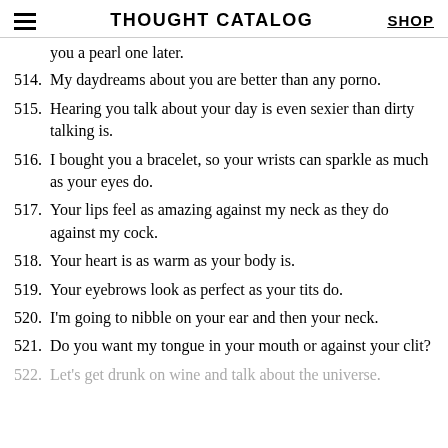THOUGHT CATALOG | SHOP
you a pearl one later.
514. My daydreams about you are better than any porno.
515. Hearing you talk about your day is even sexier than dirty talking is.
516. I bought you a bracelet, so your wrists can sparkle as much as your eyes do.
517. Your lips feel as amazing against my neck as they do against my cock.
518. Your heart is as warm as your body is.
519. Your eyebrows look as perfect as your tits do.
520. I'm going to nibble on your ear and then your neck.
521. Do you want my tongue in your mouth or against your clit?
522. Let's get drunk on wine and talk about the universe.